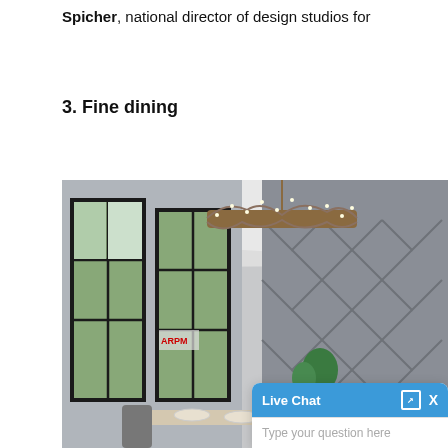Spicher, national director of design studios for
3. Fine dining
[Figure (photo): Interior photo of a modern dining room with large black-framed windows on the left showing an outdoor scene, a chevron-patterned gray accent wall on the right, a decorative branch-style chandelier with small lights hanging from the ceiling, a dining table with chairs, and green plants. A Live Chat widget overlay appears in the bottom-right corner.]